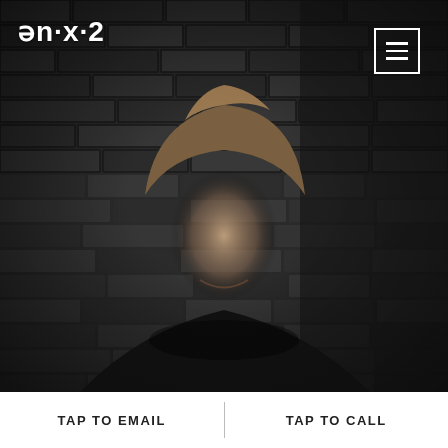[Figure (photo): Website/app screenshot showing a young man in a black shirt smiling, photographed against a dark brick wall background. Navigation logo 'ən·x·2' appears in the top left and a hamburger menu icon in the top right.]
ən·x·2
TAP TO EMAIL
TAP TO CALL